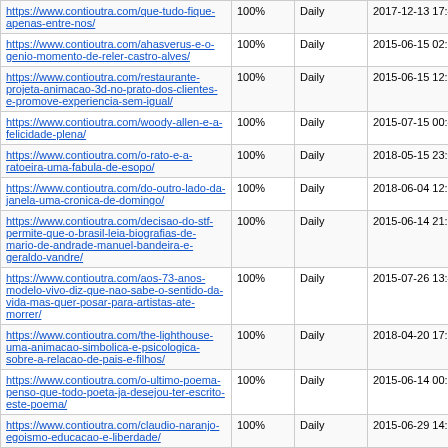| URL | Priority | Change Frequency | Last Modified |
| --- | --- | --- | --- |
| https://www.contioutra.com/que-tudo-fique-apenas-entre-nos/ | 100% | Daily | 2017-12-13 17:44 |
| https://www.contioutra.com/ahasverus-e-o-genio-momento-de-reler-castro-alves/ | 100% | Daily | 2015-06-15 02:25 |
| https://www.contioutra.com/restaurante-projeta-animacao-3d-no-prato-dos-clientes-e-promove-experiencia-sem-igual/ | 100% | Daily | 2015-06-15 12:35 |
| https://www.contioutra.com/woody-allen-e-a-felicidade-plena/ | 100% | Daily | 2015-07-15 00:47 |
| https://www.contioutra.com/o-rato-e-a-ratoeira-uma-fabula-de-esopo/ | 100% | Daily | 2018-05-15 23:01 |
| https://www.contioutra.com/do-outro-lado-da-janela-uma-cronica-de-domingo/ | 100% | Daily | 2018-06-04 12:38 |
| https://www.contioutra.com/decisao-do-stf-permite-que-o-brasil-leia-biografias-de-mario-de-andrade-manuel-bandeira-e-geraldo-vandre/ | 100% | Daily | 2015-06-14 21:21 |
| https://www.contioutra.com/aos-73-anos-modelo-vivo-diz-que-nao-sabe-o-sentido-da-vida-mas-quer-posar-para-artistas-ate-morrer/ | 100% | Daily | 2015-07-26 13:47 |
| https://www.contioutra.com/the-lighthouse-uma-animacao-simbolica-e-psicologica-sobre-a-relacao-de-pais-e-filhos/ | 100% | Daily | 2018-04-20 17:38 |
| https://www.contioutra.com/o-ultimo-poema-penso-que-todo-poeta-ja-desejou-ter-escrito-este-poema/ | 100% | Daily | 2015-06-14 00:25 |
| https://www.contioutra.com/claudio-naranjo-egoismo-educacao-e-liberdade/ | 100% | Daily | 2015-06-29 14:36 |
| https://www.contioutra.com/semelhancas-e-direncas-entre-pombos-e-sonhos-no-poema-de-raimundo-correia/ | 100% | Daily | 2015-06-14 00:06 |
| https://www.contioutra.com/4-poemas-de-... | 100% | Daily | 2018-07-13 |